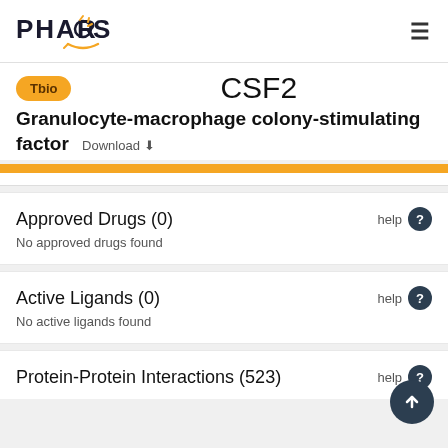PHAROS
CSF2
Tbio
Granulocyte-macrophage colony-stimulating factor  Download
Approved Drugs (0)
No approved drugs found
Active Ligands (0)
No active ligands found
Protein-Protein Interactions (523)